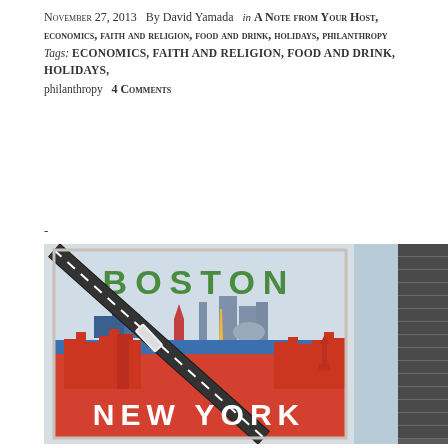November 27, 2013  By David Yamada  in A Note from Your Host, economics, faith and religion, food and drink, holidays, philanthropy  Tags: economics, faith and religion, food and drink, holidays, philanthropy  4 Comments
-
[Figure (photo): Vintage-style travel poster showing Boston and New York skylines with a train/highway cutting diagonally across the image. 'BOSTON' written in green letters at top, 'NEW YORK' in white letters at bottom. Red, blue, and orange city silhouettes. Right side partially obscured by window blinds.]